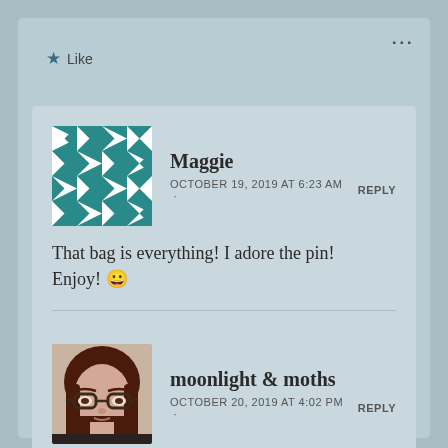[Figure (screenshot): Blog comment section screenshot showing two comments with user avatars, names, dates, reply links, comment text, and like buttons on a muted teal background.]
★ Like
Maggie
OCTOBER 19, 2019 AT 6:23 AM · REPLY
That bag is everything! I adore the pin! Enjoy! 😀
★ Like
moonlight & moths
OCTOBER 20, 2019 AT 4:02 PM · REPLY